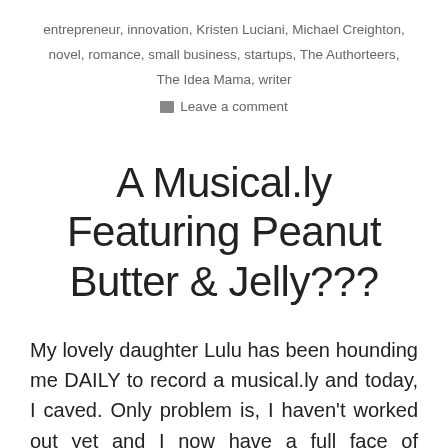entrepreneur, innovation, Kristen Luciani, Michael Creighton, novel, romance, small business, startups, The Authorteers, The Idea Mama, writer
Leave a comment
A Musical.ly Featuring Peanut Butter & Jelly???
My lovely daughter Lulu has been hounding me DAILY to record a musical.ly and today, I caved. Only problem is, I haven't worked out yet and I now have a full face of makeup. #problems “But Mom, you hate working out anyway.” Sigh. This